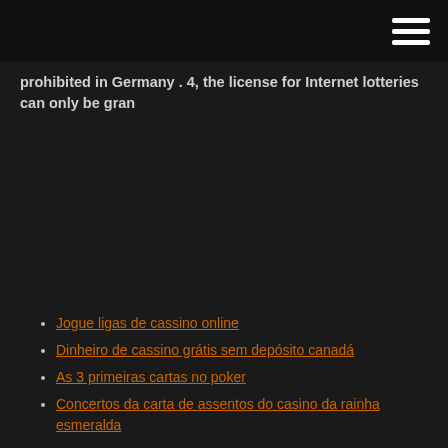[Navigation header with hamburger menu]
prohibited in Germany . 4, the license for Internet lotteries can only be gran
Jogue ligas de cassino online
Dinheiro de cassino grátis sem depósito canadá
As 3 primeiras cartas no poker
Concertos da carta de assentos do casino da rainha esmeralda